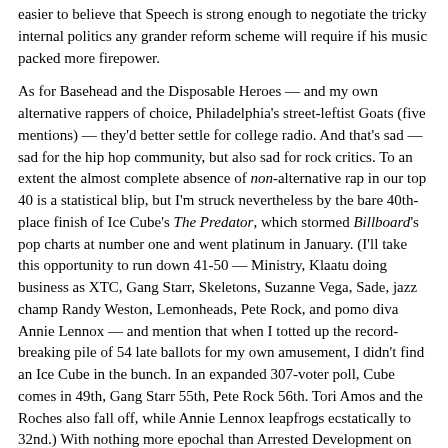easier to believe that Speech is strong enough to negotiate the tricky internal politics any grander reform scheme will require if his music packed more firepower.
As for Basehead and the Disposable Heroes — and my own alternative rappers of choice, Philadelphia's street-leftist Goats (five mentions) — they'd better settle for college radio. And that's sad — sad for the hip hop community, but also sad for rock critics. To an extent the almost complete absence of non-alternative rap in our top 40 is a statistical blip, but I'm struck nevertheless by the bare 40th-place finish of Ice Cube's The Predator, which stormed Billboard's pop charts at number one and went platinum in January. (I'll take this opportunity to run down 41-50 — Ministry, Klaatu doing business as XTC, Gang Starr, Skeletons, Suzanne Vega, Sade, jazz champ Randy Weston, Lemonheads, Pete Rock, and pomo diva Annie Lennox — and mention that when I totted up the record-breaking pile of 54 late ballots for my own amusement, I didn't find an Ice Cube in the bunch. In an expanded 307-voter poll, Cube comes in 49th, Gang Starr 55th, Pete Rock 56th. Tori Amos and the Roches also fall off, while Annie Lennox leapfrogs ecstatically to 32nd.) With nothing more epochal than Arrested Development on the horizon, it bodes ill that the Prophet Cube is losing his crit cred, that Ice-T blinked, that Public Enemy's avowed nonalbum got only one mention, that the nearest thing to another Cypress Hill coming out of left field was AD itself. It means the critics — and the demanding if faddish consumers they don't so